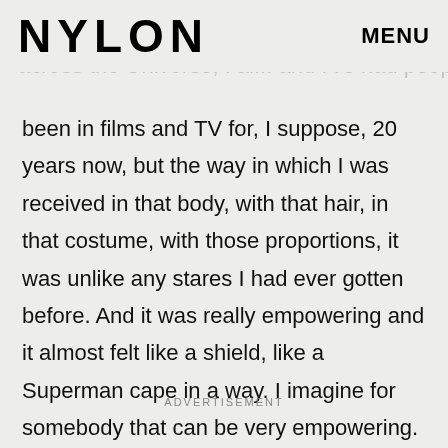NYLON   MENU
been in films and TV for, I suppose, 20 years now, but the way in which I was received in that body, with that hair, in that costume, with those proportions, it was unlike any stares I had ever gotten before. And it was really empowering and it almost felt like a shield, like a Superman cape in a way. I imagine for somebody that can be very empowering.
ADVERTISEMENT